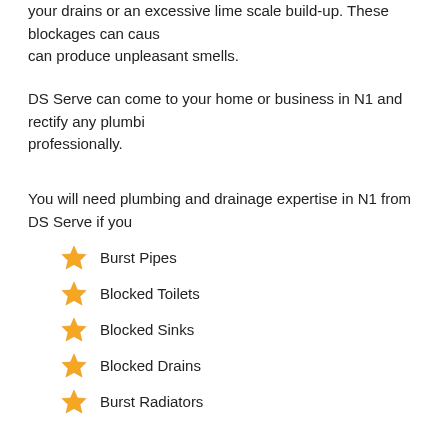your drains or an excessive lime scale build-up. These blockages can cause and can produce unpleasant smells.
DS Serve can come to your home or business in N1 and rectify any plumbing professionally.
You will need plumbing and drainage expertise in N1 from DS Serve if you
Burst Pipes
Blocked Toilets
Blocked Sinks
Blocked Drains
Burst Radiators
Leak repairs
Showers / Pumps / Ball-valves
Leaking Taps